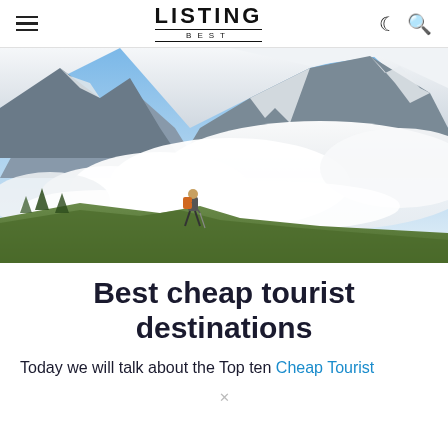LISTING BEST
[Figure (photo): A hiker with an orange backpack and trekking pole stands on a grassy hillside with dramatic snow-capped mountains and swirling clouds in the background.]
Best cheap tourist destinations
Today we will talk about the Top ten Cheap Tourist